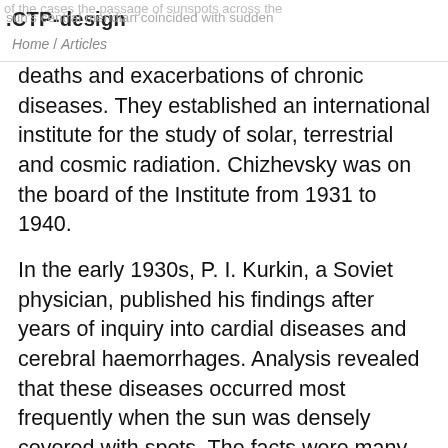.CTP-design  Home / Articles
deaths and exacerbations of chronic diseases. They established an international institute for the study of solar, terrestrial and cosmic radiation. Chizhevsky was on the board of the Institute from 1931 to 1940.
In the early 1930s, P. I. Kurkin, a Soviet physician, published his findings after years of inquiry into cardial diseases and cerebral haemorrhages. Analysis revealed that these diseases occurred most frequently when the sun was densely covered with spots. The facts were many, but the